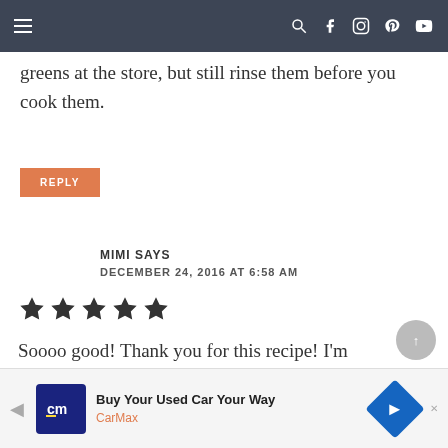Navigation bar with hamburger menu and social icons
greens at the store, but still rinse them before you cook them.
REPLY
MIMI SAYS
DECEMBER 24, 2016 AT 6:58 AM
[Figure (other): Five filled star rating icons]
Soooo good! Thank you for this recipe! I'm
[Figure (other): CarMax advertisement banner: Buy Your Used Car Your Way, CarMax logo]
Advertisement: Buy Your Used Car Your Way - CarMax